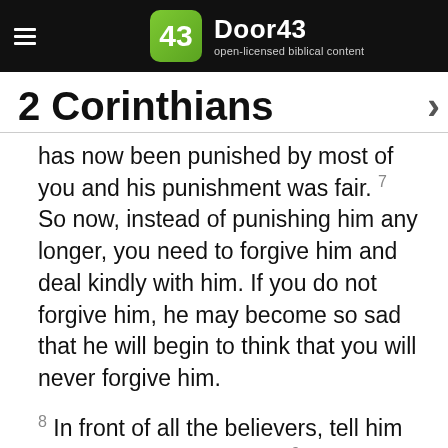Door43 open-licensed biblical content
2 Corinthians
has now been punished by most of you and his punishment was fair. 7 So now, instead of punishing him any longer, you need to forgive him and deal kindly with him. If you do not forgive him, he may become so sad that he will begin to think that you will never forgive him.
8 In front of all the believers, tell him how much you love him. 9 I wrote you to see if you would obey God and deal with this problem. 10 So the man you forgave, I also